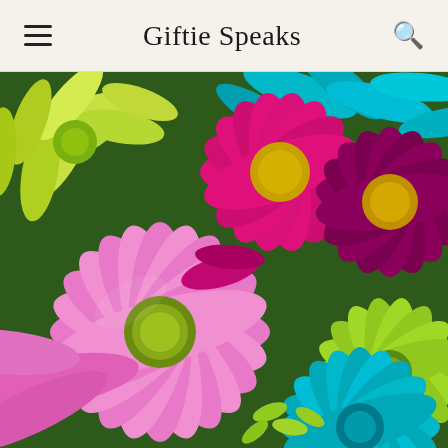Giftie Speaks
[Figure (photo): Close-up photograph of colorful daisy flowers including pink, magenta/hot pink, yellow-green/lime, teal/cyan, and deep purple/maroon daisies clustered together. The large pink daisy with yellow-green center dominates the lower left, with magenta daisies in the center-top, lime green daisy top-left, and teal/cyan daisy in the lower right.]